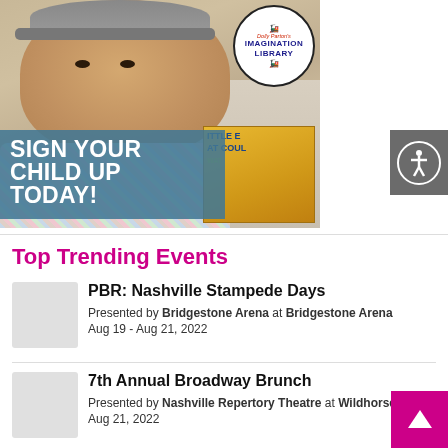[Figure (photo): Baby/toddler wearing plaid shirt holding a book, with Dolly Parton's Imagination Library logo overlay and 'Sign Your Child Up Today!' banner]
Top Trending Events
PBR: Nashville Stampede Days
Presented by Bridgestone Arena at Bridgestone Arena
Aug 19 - Aug 21, 2022
7th Annual Broadway Brunch
Presented by Nashville Repertory Theatre at Wildhorse
Aug 21, 2022